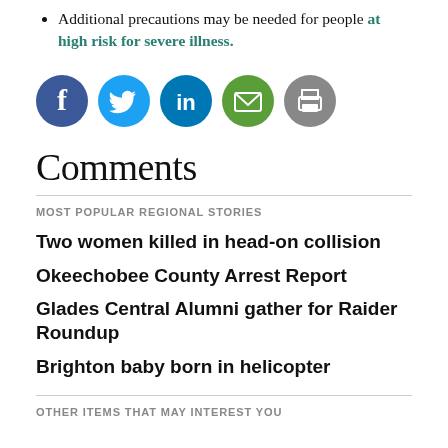Additional precautions may be needed for people at high risk for severe illness.
[Figure (infographic): Five social sharing icons in circles: Facebook (dark blue), Twitter (light blue), LinkedIn (dark blue), Email (green), Print (gray)]
Comments
MOST POPULAR REGIONAL STORIES
Two women killed in head-on collision
Okeechobee County Arrest Report
Glades Central Alumni gather for Raider Roundup
Brighton baby born in helicopter
OTHER ITEMS THAT MAY INTEREST YOU